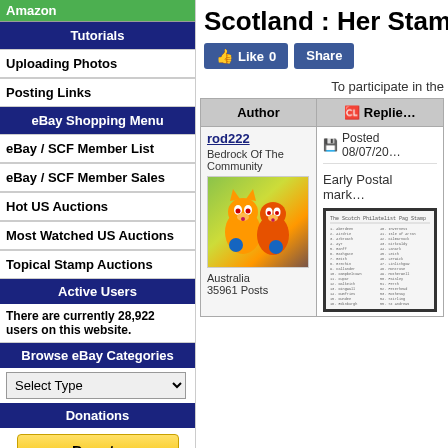Amazon
Tutorials
Uploading Photos
Posting Links
eBay Shopping Menu
eBay / SCF Member List
eBay / SCF Member Sales
Hot US Auctions
Most Watched US Auctions
Topical Stamp Auctions
Active Users
There are currently 28,922 users on this website.
Browse eBay Categories
Select Type
Donations
Scotland : Her Stamps A…
Like 0   Share
To participate in the
| Author | Replies |
| --- | --- |
| rod222
Bedrock Of The Community
[avatar]
Australia
35961 Posts | Posted 08/07/20…
Early Postal mark…
[stamp image] |